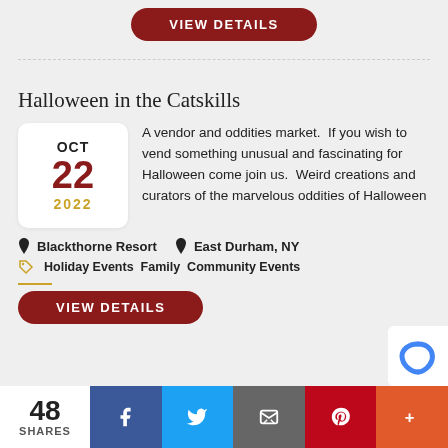VIEW DETAILS
Halloween in the Catskills
A vendor and oddities market.  If you wish to vend something unusual and fascinating for Halloween come join us.  Weird creations and curators of the marvelous oddities of Halloween
OCT 22 2022
📍 Blackthorne Resort   📍 East Durham, NY
Holiday Events Family Community Events
VIEW DETAILS
48 SHARES